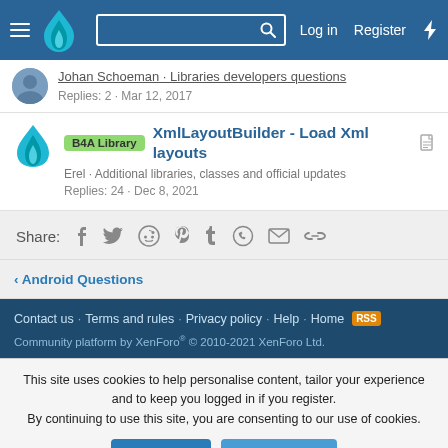Log in  Register
Johan Schoeman · Libraries developers questions
Replies: 2 · Mar 12, 2017
B4A Library  XmlLayoutBuilder - Load Xml layouts
Erel · Additional libraries, classes and official updates
Replies: 24 · Dec 8, 2021
Share:
< Android Questions
Contact us  Terms and rules  Privacy policy  Help  Home
Community platform by XenForo® © 2010-2021 XenForo Ltd.
This site uses cookies to help personalise content, tailor your experience and to keep you logged in if you register.
By continuing to use this site, you are consenting to our use of cookies.